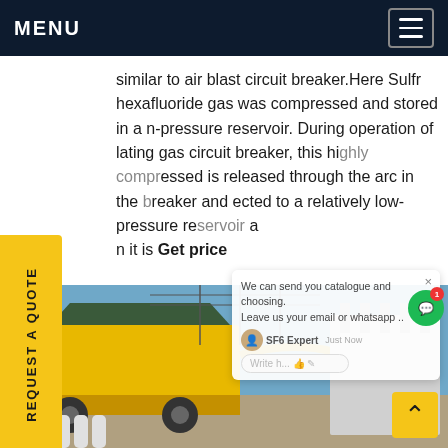MENU
similar to air blast circuit breaker.Here Sulfr hexafluoride gas was compressed and stored in a n-pressure reservoir. During operation of lating gas circuit breaker, this highly compressed is released through the arc in the breaker and ected to a relatively low-pressure reservoir a n it is Get price
[Figure (photo): Yellow SF6 gas service truck and high-voltage electrical substation transformer equipment outdoors under blue sky]
REQUEST A QUOTE